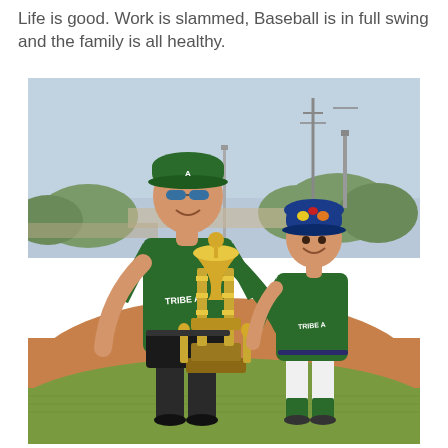Life is good. Work is slammed, Baseball is in full swing and the family is all healthy.
[Figure (photo): A tall adult man in a green 'Tribe A' baseball jersey, black shorts, green cap, and blue sunglasses stands beside a young boy also wearing a green 'Tribe A' baseball uniform and a colorful cap. Both are smiling and holding a large multi-tiered baseball trophy together. They are standing on a grass and dirt baseball field with a hazy sky and field lights in the background.]